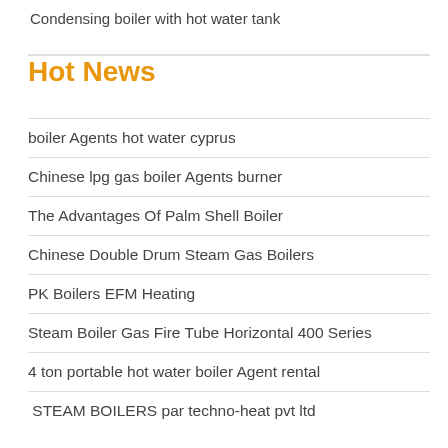Condensing boiler with hot water tank
Hot News
boiler Agents hot water cyprus
Chinese lpg gas boiler Agents burner
The Advantages Of Palm Shell Boiler
Chinese Double Drum Steam Gas Boilers
PK Boilers EFM Heating
Steam Boiler Gas Fire Tube Horizontal 400 Series
4 ton portable hot water boiler Agent rental
STEAM BOILERS par techno-heat pvt ltd